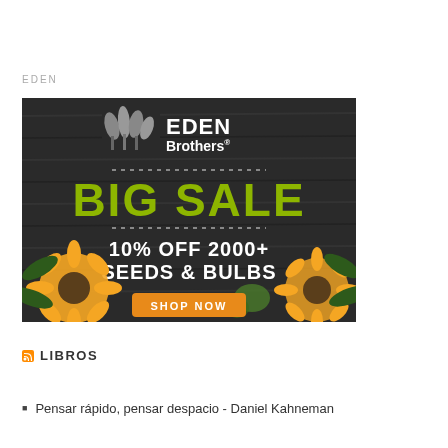EDEN
[Figure (illustration): Eden Brothers Big Sale advertisement: dark wood background with Eden Brothers logo, 'BIG SALE' in large green text, '10% OFF 2000+ SEEDS & BULBS' in white text, orange 'SHOP NOW' button, sunflowers decoration]
LIBROS
Pensar rápido, pensar despacio - Daniel Kahneman